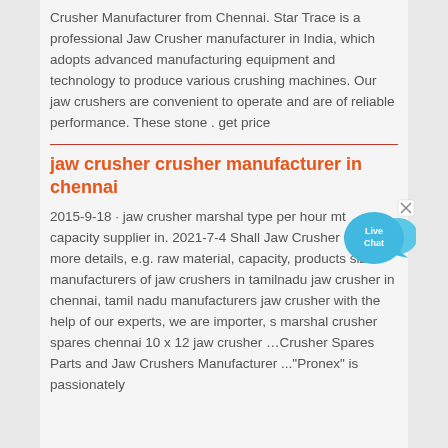Crusher Manufacturer from Chennai. Star Trace is a professional Jaw Crusher manufacturer in India, which adopts advanced manufacturing equipment and technology to produce various crushing machines. Our jaw crushers are convenient to operate and are of reliable performance. These stone . get price
[Figure (illustration): Live Chat button widget — blue speech bubble with 'Live Chat' text and a small X close button]
jaw crusher crusher manufacturer in chennai
2015-9-18 · jaw crusher marshal type per hour mt capacity supplier in. 2021-7-4 Shall Jaw Crusher Chennai. more details, e.g. raw material, capacity, products size manufacturers of jaw crushers in tamilnadu jaw crusher in chennai, tamil nadu manufacturers jaw crusher with the help of our experts, we are importer, s marshal crusher spares chennai 10 x 12 jaw crusher …Crusher Spares Parts and Jaw Crushers Manufacturer ..."Pronex" is passionately